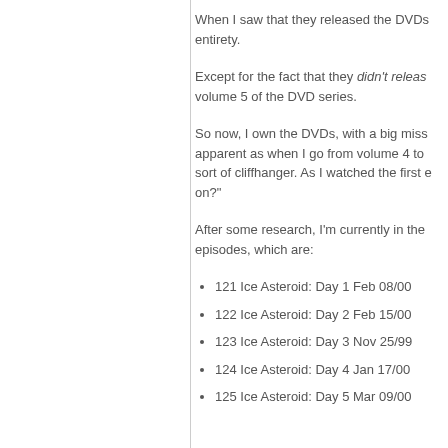When I saw that they released the DVDs entirety.
Except for the fact that they didn't release volume 5 of the DVD series.
So now, I own the DVDs, with a big miss apparent as when I go from volume 4 to sort of cliffhanger. As I watched the first e on?"
After some research, I'm currently in the episodes, which are:
121 Ice Asteroid: Day 1 Feb 08/00
122 Ice Asteroid: Day 2 Feb 15/00
123 Ice Asteroid: Day 3 Nov 25/99
124 Ice Asteroid: Day 4 Jan 17/00
125 Ice Asteroid: Day 5 Mar 09/00